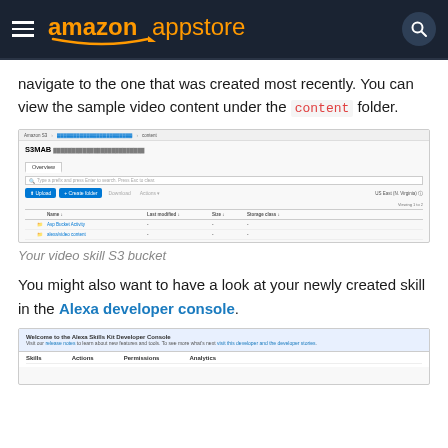amazon appstore
navigate to the one that was created most recently. You can view the sample video content under the content folder.
[Figure (screenshot): AWS S3 console screenshot showing a bucket with two folders: 'Asp Bucket Activity' and 'alexa/video content'. Toolbar shows Upload and Create folder buttons. Region shown is US East (N. Virginia).]
Your video skill S3 bucket
You might also want to have a look at your newly created skill in the Alexa developer console.
[Figure (screenshot): Alexa Skills Kit Developer Console welcome screen showing Skills table with columns: Skills, Actions, Permissions, Analytics.]